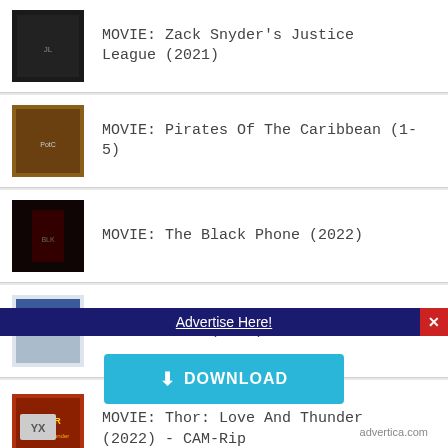MOVIE: Zack Snyder's Justice League (2021)
MOVIE: Pirates Of The Caribbean (1-5)
MOVIE: The Black Phone (2022)
MOVIE: Rise (2022)
MOVIE: Thor: Love And Thunder (2022) - CAM-Rip
Advertise Here!
DOWNLOAD
advertica.com